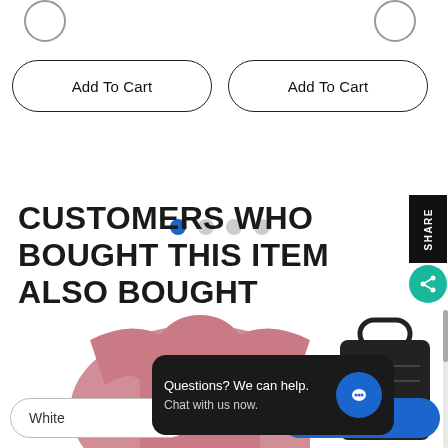[Figure (screenshot): Two circular icons at the top of a product listing page]
Add To Cart
Add To Cart
[Figure (other): Pagination dots: 4 dots, first one blue/active, rest gray]
CUSTOMERS WHO BOUGHT THIS ITEM ALSO BOUGHT
[Figure (photo): Pink t-shirt product image with jafTees brand label, partially visible]
[Figure (photo): Dark/black bag product image, partially visible]
White
o Cart
[Figure (screenshot): Chat widget overlay: Questions? We can help. Chat with us now.]